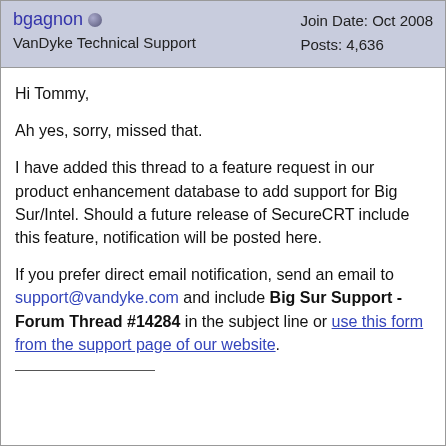bgagnon  VanDyke Technical Support  Join Date: Oct 2008  Posts: 4,636
Hi Tommy,
Ah yes, sorry, missed that.
I have added this thread to a feature request in our product enhancement database to add support for Big Sur/Intel. Should a future release of SecureCRT include this feature, notification will be posted here.
If you prefer direct email notification, send an email to support@vandyke.com and include Big Sur Support - Forum Thread #14284 in the subject line or use this form from the support page of our website.